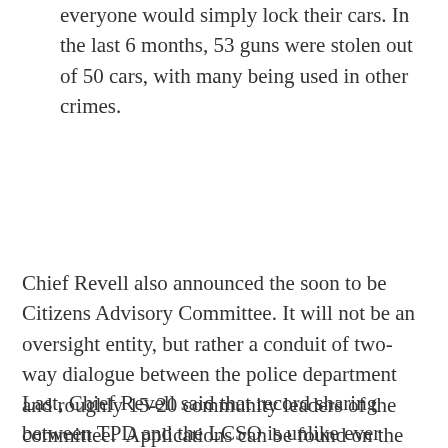everyone would simply lock their cars. In the last 6 months, 53 guns were stolen out of 50 cars, with many being used in other crimes.
Chief Revell also announced the soon to be Citizens Advisory Committee. It will not be an oversight entity, but rather a conduit of two-way dialogue between the police department and roughly 15-20 community leaders of the committee.  Applications can be found on the police website.
Last, Chief Revell said that record sharing between TPD and the LCSO is unlike ever before, particularly the